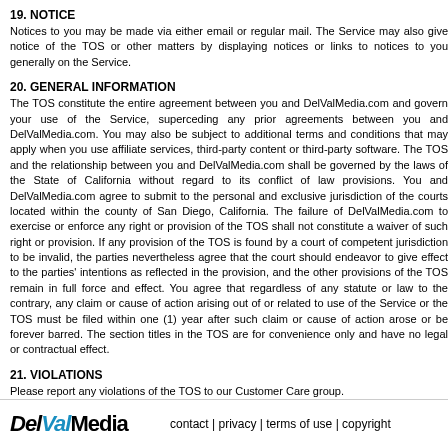19. NOTICE
Notices to you may be made via either email or regular mail. The Service may also give notice of the TOS or other matters by displaying notices or links to notices to you generally on the Service.
20. GENERAL INFORMATION
The TOS constitute the entire agreement between you and DelValMedia.com and govern your use of the Service, superceding any prior agreements between you and DelValMedia.com. You may also be subject to additional terms and conditions that may apply when you use affiliate services, third-party content or third-party software. The TOS and the relationship between you and DelValMedia.com shall be governed by the laws of the State of California without regard to its conflict of law provisions. You and DelValMedia.com agree to submit to the personal and exclusive jurisdiction of the courts located within the county of San Diego, California. The failure of DelValMedia.com to exercise or enforce any right or provision of the TOS shall not constitute a waiver of such right or provision. If any provision of the TOS is found by a court of competent jurisdiction to be invalid, the parties nevertheless agree that the court should endeavor to give effect to the parties' intentions as reflected in the provision, and the other provisions of the TOS remain in full force and effect. You agree that regardless of any statute or law to the contrary, any claim or cause of action arising out of or related to use of the Service or the TOS must be filed within one (1) year after such claim or cause of action arose or be forever barred. The section titles in the TOS are for convenience only and have no legal or contractual effect.
21. VIOLATIONS
Please report any violations of the TOS to our Customer Care group.
DelValMedia   contact | privacy | terms of use | copyright